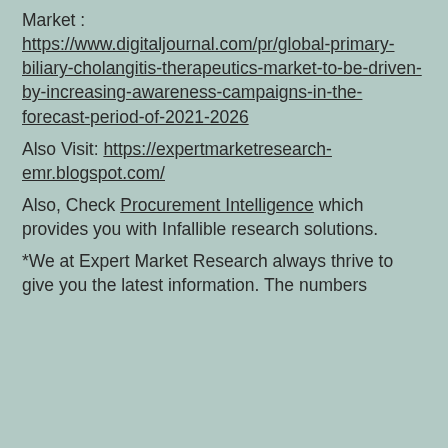Market : https://www.digitaljournal.com/pr/global-primary-biliary-cholangitis-therapeutics-market-to-be-driven-by-increasing-awareness-campaigns-in-the-forecast-period-of-2021-2026
Also Visit: https://expertmarketresearch-emr.blogspot.com/
Also, Check Procurement Intelligence which provides you with Infallible research solutions.
*We at Expert Market Research always thrive to give you the latest information. The numbers